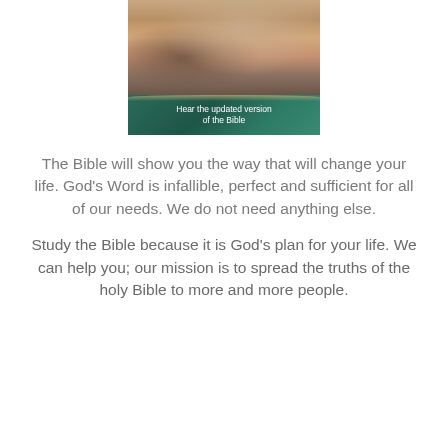[Figure (photo): A photo of a person with hands together above a Bible or book, with a teal/dark green overlay panel at the bottom containing white text reading 'Hear the updated version of the Bible']
The Bible will show you the way that will change your life. God's Word is infallible, perfect and sufficient for all of our needs. We do not need anything else.
Study the Bible because it is God's plan for your life. We can help you; our mission is to spread the truths of the holy Bible to more and more people.